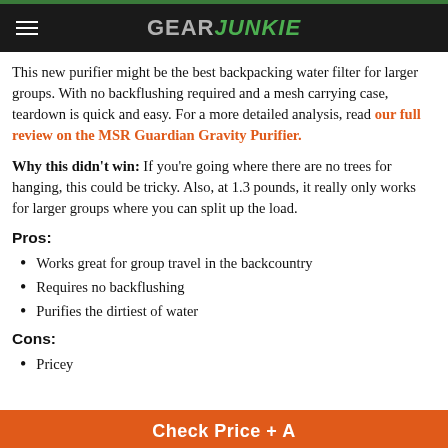GEAR JUNKIE
This new purifier might be the best backpacking water filter for larger groups. With no backflushing required and a mesh carrying case, teardown is quick and easy. For a more detailed analysis, read our full review on the MSR Guardian Gravity Purifier.
Why this didn't win: If you're going where there are no trees for hanging, this could be tricky. Also, at 1.3 pounds, it really only works for larger groups where you can split up the load.
Pros:
Works great for group travel in the backcountry
Requires no backflushing
Purifies the dirtiest of water
Cons:
Pricey